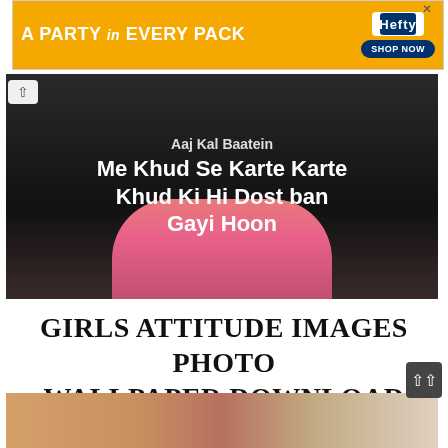[Figure (other): Advertisement banner for Hefty brand. Orange background with text 'A PARTY in EVERY PACK' and Hefty logo with 'SHOP NOW' button on the right.]
[Figure (photo): Dark-themed photo of a girl in pink dress with overlaid text in white: 'Aaj Kal Baatein Me Khud Se Karte Karte Khud Ki Hi Dost ban Gayi Hoon']
GIRLS ATTITUDE IMAGES PHOTO WALLPAPER DOWNLOAD
[Figure (photo): Photo of a young woman with auburn/brown hair, smiling, with another figure partially visible on the right side.]